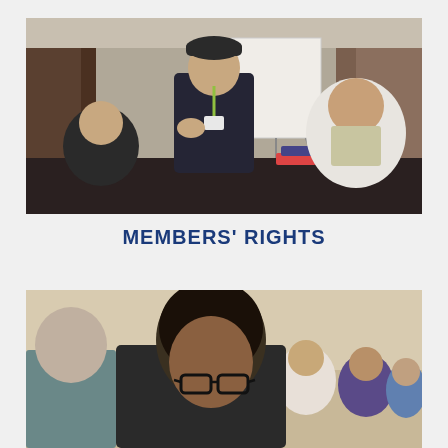[Figure (photo): A man in a dark jacket and baseball cap stands at a conference table, gesturing and speaking to two other people. A blank flip chart easel is visible in the background. The setting appears to be a training or workshop session.]
MEMBERS' RIGHTS
[Figure (photo): A Black woman wearing glasses is shown in the foreground of what appears to be a classroom or training session, with several other attendees visible in the background.]